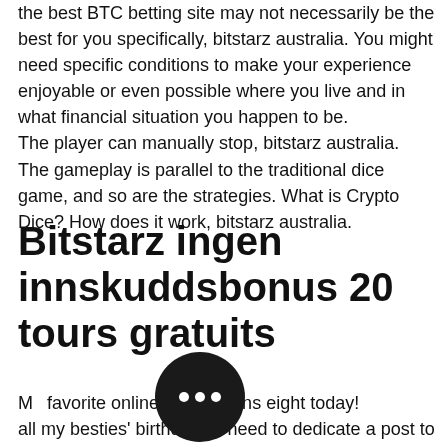the best BTC betting site may not necessarily be the best for you specifically, bitstarz australia. You might need specific conditions to make your experience enjoyable or even possible where you live and in what financial situation you happen to be.
The player can manually stop, bitstarz australia.
The gameplay is parallel to the traditional dice game, and so are the strategies. What is Crypto Dice? How does it work, bitstarz australia.
Bitstarz ingen innskuddsbonus 20 tours gratuits
My favorite online casino turns eight today! Like all my besties' birthdays, i need to dedicate a post to this powerhouse. Offering fast and secure cryptocurrency payments...